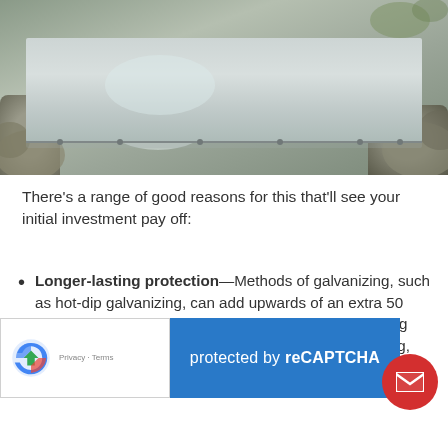[Figure (photo): A galvanized metal plate or sheet lying on stone/concrete ground outdoors. The plate is rectangular, metallic grey in color, photographed from above at a slight angle.]
There’s a range of good reasons for this that’ll see your initial investment pay off:
Longer-lasting protection—Methods of galvanizing, such as hot-dip galvanizing, can add upwards of an extra 50 years’ worth of corrosion prevention. This longer-lasting protection coupled with finishes, such as power coating, means that you’ll have a robust and maintenance-free product for decades to c...
...ction—With us... our local supplier, Edward Howell Galvanizers